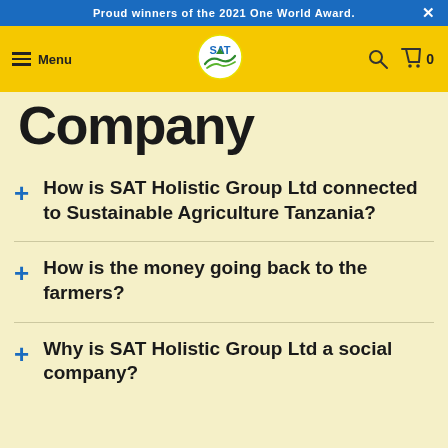Proud winners of the 2021 One World Award.
Menu | SAT Logo | Search | Cart 0
Company
How is SAT Holistic Group Ltd connected to Sustainable Agriculture Tanzania?
How is the money going back to the farmers?
Why is SAT Holistic Group Ltd a social company?